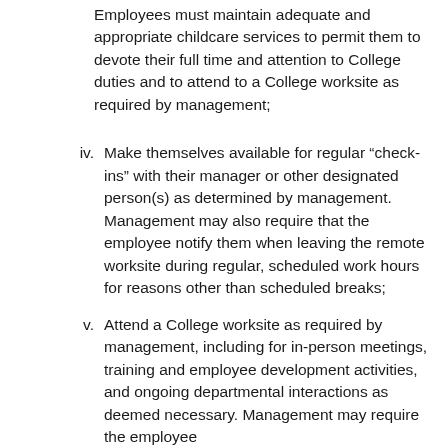Employees must maintain adequate and appropriate childcare services to permit them to devote their full time and attention to College duties and to attend to a College worksite as required by management;
iv. Make themselves available for regular “check-ins” with their manager or other designated person(s) as determined by management. Management may also require that the employee notify them when leaving the remote worksite during regular, scheduled work hours for reasons other than scheduled breaks;
v. Attend a College worksite as required by management, including for in-person meetings, training and employee development activities, and ongoing departmental interactions as deemed necessary. Management may require the employee